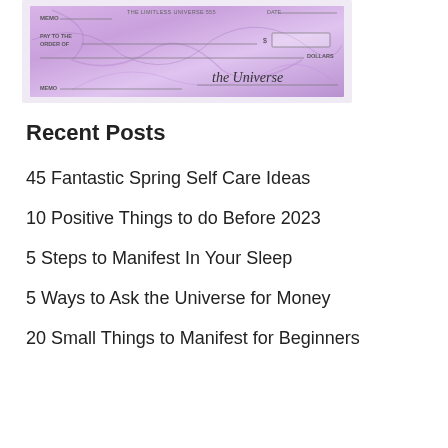[Figure (illustration): A purple/lavender decorative check from 'The Limitless Universe 555' with cursive signature 'the Universe', showing fields for PAY TO THE ORDER OF, DOLLARS, MEMO, and a $ amount box.]
Recent Posts
45 Fantastic Spring Self Care Ideas
10 Positive Things to do Before 2023
5 Steps to Manifest In Your Sleep
5 Ways to Ask the Universe for Money
20 Small Things to Manifest for Beginners